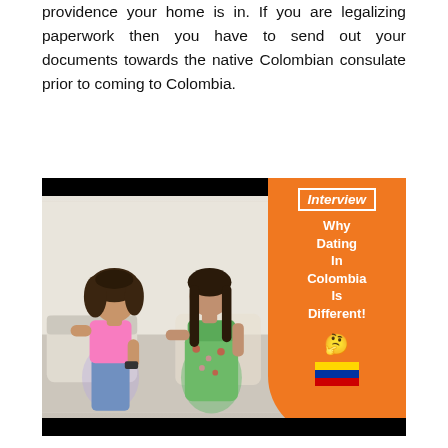providence your home is in. If you are legalizing paperwork then you have to send out your documents towards the native Colombian consulate prior to coming to Colombia.
[Figure (photo): Video thumbnail showing two women sitting and talking, with an orange panel overlay on the right side reading 'Interview - Why Dating In Colombia Is Different!' with a Colombian flag emoji and thinking face emoji.]